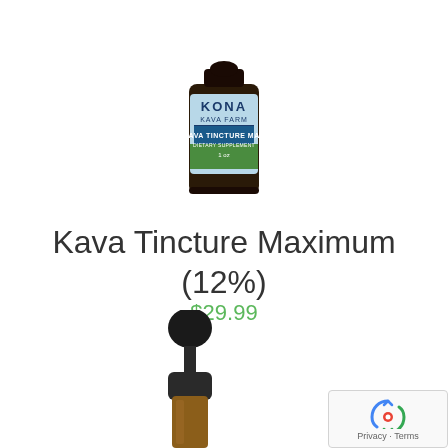[Figure (photo): Small dark bottle of Kona Kava Farm Kava Tincture Max dietary supplement, 1 oz, shown from above with light blue label and green landscape]
Kava Tincture Maximum (12%)
$29.99
[Figure (photo): Close-up of amber glass dropper bottle with black rubber dropper bulb and black metal cap, partially visible from top]
[Figure (other): Google reCAPTCHA badge showing recycling-style arrows icon with Privacy and Terms links]